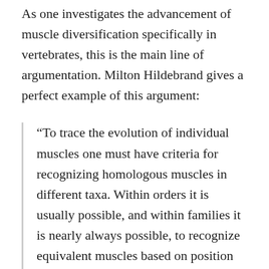As one investigates the advancement of muscle diversification specifically in vertebrates, this is the main line of argumentation. Milton Hildebrand gives a perfect example of this argument:
“To trace the evolution of individual muscles one must have criteria for recognizing homologous muscles in different taxa. Within orders it is usually possible, and within families it is nearly always possible, to recognize equivalent muscles based on position and relationships with other muscles